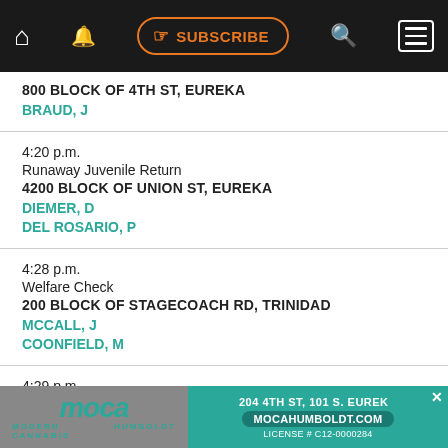SUBSCRIBE navigation bar
800 BLOCK OF 4TH ST, EUREKA
BRAUD, J
4:20 p.m.
Runaway Juvenile Return
4200 BLOCK OF UNION ST, EUREKA
DIEMER, D
DEL ROSARIO, P
4:28 p.m.
Welfare Check
200 BLOCK OF STAGECOACH RD, TRINIDAD
MCCALL, J
COONFIELD, M
4:29 p.m.
[Figure (infographic): MOCA Modern Cannabis Humboldt advertisement banner with address 204 4TH ST, 101 S. EUREKA, MOCAHUMBOLDT.COM, LICENSE # C12-0000284]